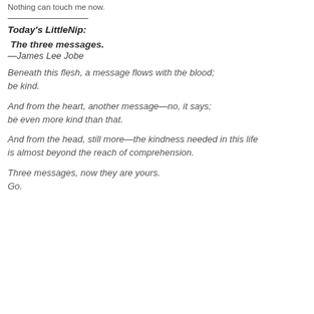Nothing can touch me now.
Today's LittleNip:
The three messages.
—James Lee Jobe
Beneath this flesh, a message flows with the blood;
be kind.
And from the heart, another message—no, it says;
be even more kind than that.
And from the head, still more—the kindness needed in this life
is almost beyond the reach of comprehension.
Three messages, now they are yours.
Go.